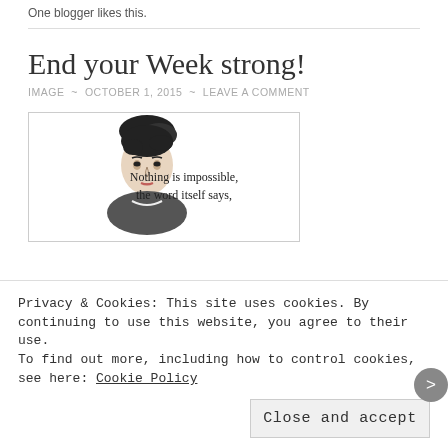One blogger likes this.
End your Week strong!
IMAGE ~ OCTOBER 1, 2015 ~ LEAVE A COMMENT
[Figure (illustration): Black and white illustration of a woman (Audrey Hepburn style) with text 'Nothing is impossible, the word itself says,']
Privacy & Cookies: This site uses cookies. By continuing to use this website, you agree to their use. To find out more, including how to control cookies, see here: Cookie Policy
Close and accept